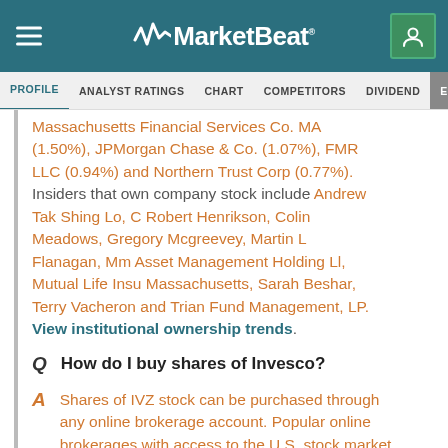MarketBeat
PROFILE  ANALYST RATINGS  CHART  COMPETITORS  DIVIDEND  EARNINGS
Massachusetts Financial Services Co. MA (1.50%), JPMorgan Chase & Co. (1.07%), FMR LLC (0.94%) and Northern Trust Corp (0.77%). Insiders that own company stock include Andrew Tak Shing Lo, C Robert Henrikson, Colin Meadows, Gregory Mcgreevey, Martin L Flanagan, Mm Asset Management Holding Ll, Mutual Life Insu Massachusetts, Sarah Beshar, Terry Vacheron and Trian Fund Management, LP. View institutional ownership trends.
Q  How do I buy shares of Invesco?
A  Shares of IVZ stock can be purchased through any online brokerage account. Popular online brokerages with access to the U.S. stock market